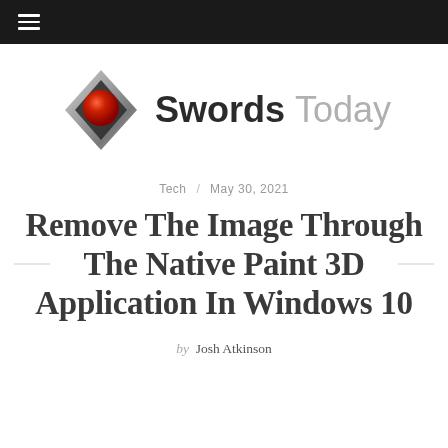Swords Today — navigation header with hamburger menu
[Figure (logo): Swords Today logo: a diamond-shaped metallic icon with a red sphere, beside the text 'Swords Today']
Tech / May 30, 2021
Remove The Image Through The Native Paint 3D Application In Windows 10
by Josh Atkinson